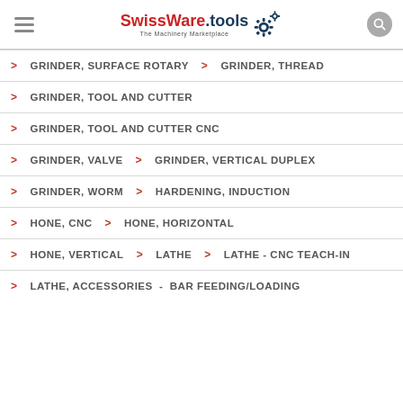SwissWare.tools — The Machinery Marketplace
> GRINDER, SURFACE ROTARY > GRINDER, THREAD
> GRINDER, TOOL AND CUTTER
> GRINDER, TOOL AND CUTTER CNC
> GRINDER, VALVE > GRINDER, VERTICAL DUPLEX
> GRINDER, WORM > HARDENING, INDUCTION
> HONE, CNC > HONE, HORIZONTAL
> HONE, VERTICAL > LATHE > LATHE - CNC TEACH-IN
> LATHE, ACCESSORIES - BAR FEEDING/LOADING